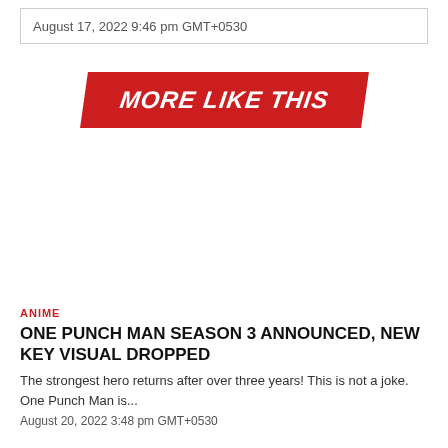August 17, 2022 9:46 pm GMT+0530
[Figure (other): Red banner with slanted background reading MORE LIKE THIS in bold white italic uppercase text]
ANIME
ONE PUNCH MAN SEASON 3 ANNOUNCED, NEW KEY VISUAL DROPPED
The strongest hero returns after over three years! This is not a joke. One Punch Man is...
August 20, 2022 3:48 pm GMT+0530